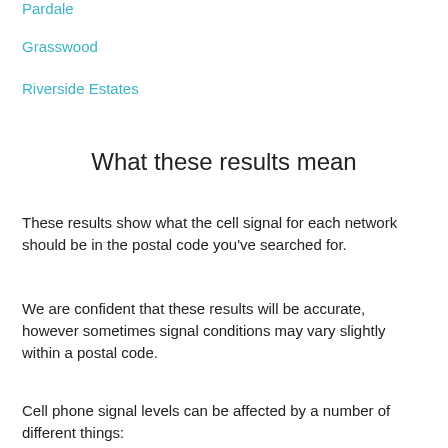Pardale
Grasswood
Riverside Estates
What these results mean
These results show what the cell signal for each network should be in the postal code you've searched for.
We are confident that these results will be accurate, however sometimes signal conditions may vary slightly within a postal code.
Cell phone signal levels can be affected by a number of different things: